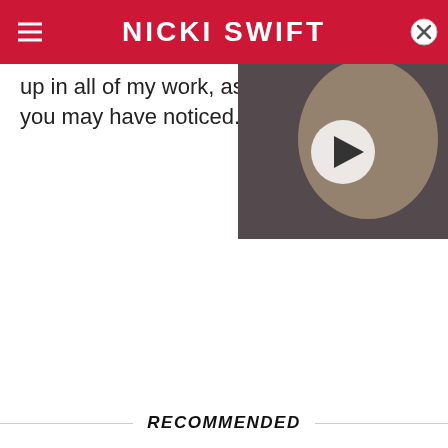NICKI SWIFT
up in all of my work, as you may have noticed.
[Figure (screenshot): Video thumbnail of a blonde woman with a play button overlay, appears to be a video player embedded in the article.]
RECOMMENDED